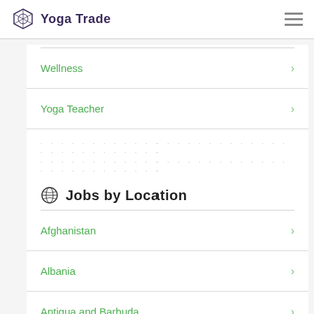Yoga Trade
Wellness
Yoga Teacher
Jobs by Location
Afghanistan
Albania
Antigua and Barbuda